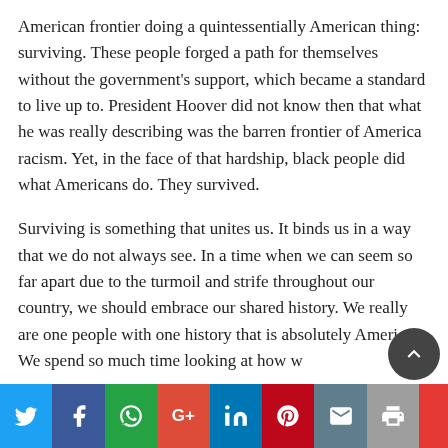American frontier doing a quintessentially American thing: surviving. These people forged a path for themselves without the government's support, which became a standard to live up to. President Hoover did not know then that what he was really describing was the barren frontier of America racism. Yet, in the face of that hardship, black people did what Americans do. They survived.
Surviving is something that unites us. It binds us in a way that we do not always see. In a time when we can seem so far apart due to the turmoil and strife throughout our country, we should embrace our shared history. We really are one people with one history that is absolutely American. We spend so much time looking at how w…
[Figure (infographic): Social media sharing bar with buttons for Twitter, Facebook, WhatsApp, Google+, LinkedIn, Pinterest, Email, Print, and a scroll-to-top button]